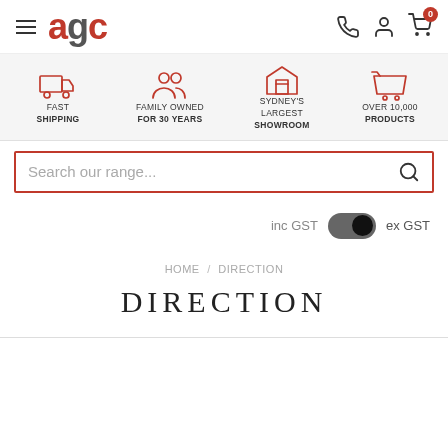agc
FAST SHIPPING | FAMILY OWNED FOR 30 YEARS | SYDNEY'S LARGEST SHOWROOM | OVER 10,000 PRODUCTS
Search our range...
inc GST  ex GST
HOME / DIRECTION
DIRECTION